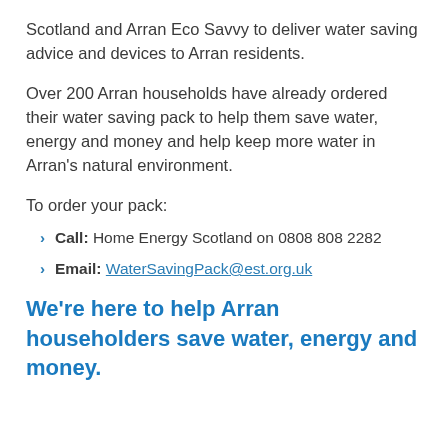Scotland and Arran Eco Savvy to deliver water saving advice and devices to Arran residents.
Over 200 Arran households have already ordered their water saving pack to help them save water, energy and money and help keep more water in Arran's natural environment.
To order your pack:
Call: Home Energy Scotland on 0808 808 2282
Email: WaterSavingPack@est.org.uk
We're here to help Arran householders save water, energy and money.